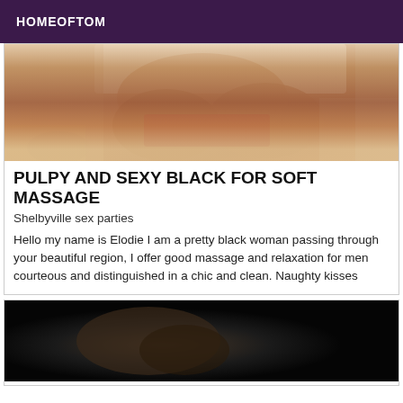HOMEOFTOM
[Figure (photo): Cropped photo showing a person in a short white top and red/orange underwear, close-up lower body shot]
PULPY AND SEXY BLACK FOR SOFT MASSAGE
Shelbyville sex parties
Hello my name is Elodie I am a pretty black woman passing through your beautiful region, I offer good massage and relaxation for men courteous and distinguished in a chic and clean. Naughty kisses
[Figure (photo): Dark photo showing a person, mostly obscured in shadow]